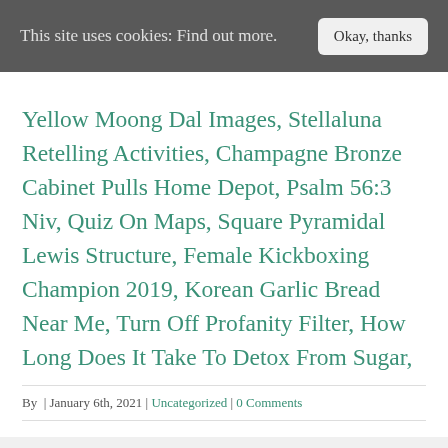This site uses cookies: Find out more.   Okay, thanks
Yellow Moong Dal Images, Stellaluna Retelling Activities, Champagne Bronze Cabinet Pulls Home Depot, Psalm 56:3 Niv, Quiz On Maps, Square Pyramidal Lewis Structure, Female Kickboxing Champion 2019, Korean Garlic Bread Near Me, Turn Off Profanity Filter, How Long Does It Take To Detox From Sugar,
By  | January 6th, 2021 | Uncategorized | 0 Comments
Share This Story, Choose Your